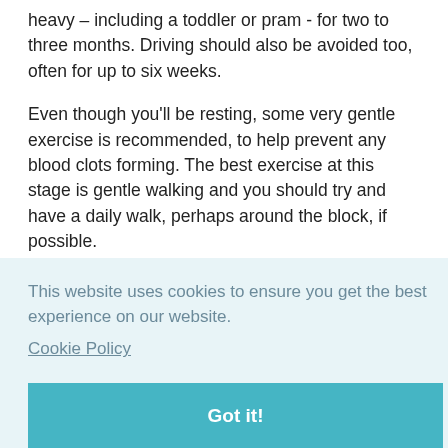heavy – including a toddler or pram - for two to three months. Driving should also be avoided too, often for up to six weeks.
Even though you'll be resting, some very gentle exercise is recommended, to help prevent any blood clots forming. The best exercise at this stage is gentle walking and you should try and have a daily walk, perhaps around the block, if possible.
This website uses cookies to ensure you get the best experience on our website. Cookie Policy
Got it!